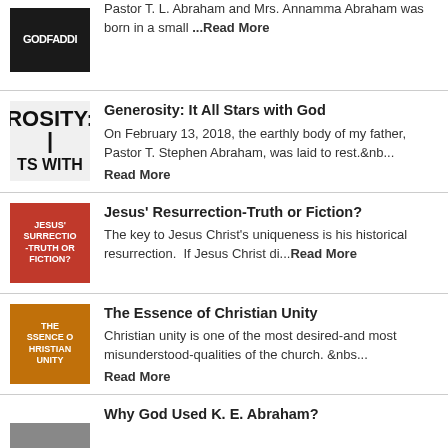Pastor T. L. Abraham and Mrs. Annamma Abraham was born in a small ...Read More
Generosity: It All Stars with God
On February 13, 2018, the earthly body of my father, Pastor T. Stephen Abraham, was laid to rest.&nb... Read More
Jesus' Resurrection-Truth or Fiction?
The key to Jesus Christ's uniqueness is his historical resurrection. If Jesus Christ di...Read More
The Essence of Christian Unity
Christian unity is one of the most desired-and most misunderstood-qualities of the church. &nbs... Read More
Why God Used K. E. Abraham?